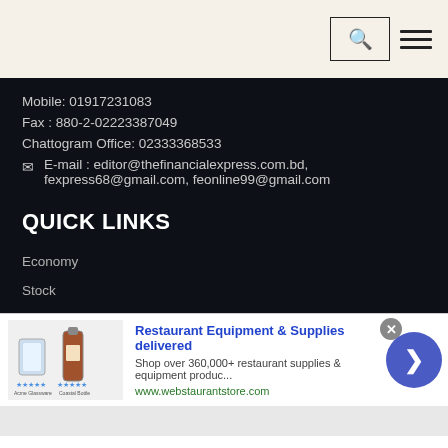Navigation bar with search and menu icons
Mobile: 01917231083
Fax : 880-2-02223387049
Chattogram Office: 02333368533
E-mail : editor@thefinancialexpress.com.bd, fexpress68@gmail.com, feonline99@gmail.com
QUICK LINKS
Economy
Stock
[Figure (screenshot): Advertisement banner for Restaurant Equipment & Supplies delivered. Shop over 360,000+ restaurant supplies & equipment produc... www.webstaurantstore.com]